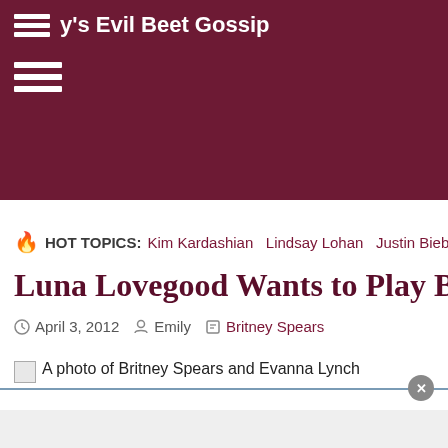Evil Beet Gossip
HOT TOPICS: Kim Kardashian  Lindsay Lohan  Justin Bieb
Luna Lovegood Wants to Play Britney Sp
April 3, 2012  Emily  Britney Spears
[Figure (photo): A photo of Britney Spears and Evanna Lynch (broken image placeholder)]